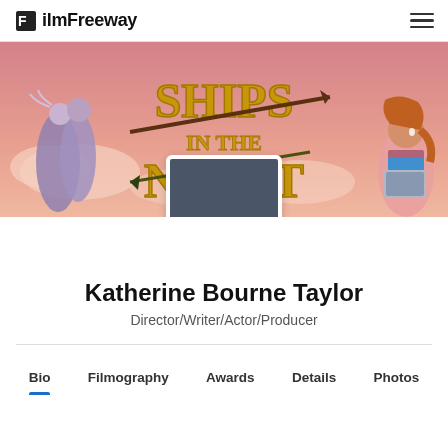FilmFreeway
[Figure (illustration): Animated banner image showing 'Ships in the Night' title text in gold letters against a pink/peach sky background, with illustrated characters on the left (a couple embracing) and right (a girl with a laptop). A grey profile avatar placeholder is centered at the bottom of the banner.]
Katherine Bourne Taylor
Director/Writer/Actor/Producer
Bio
Filmography
Awards
Details
Photos